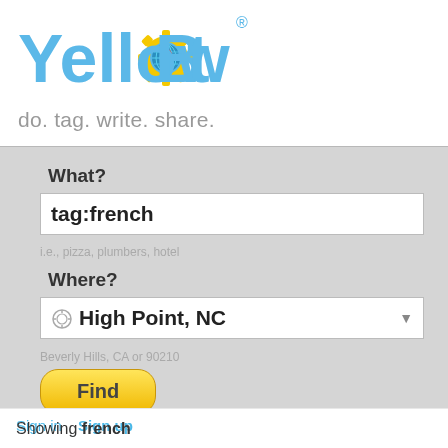[Figure (logo): YellowBot logo with yellow gear/bot icon and blue text]
do. tag. write. share.
What?
tag:french
i.e., pizza, plumbers, hotel
Where?
High Point, NC
Beverly Hills, CA or 90210
Find
Sign in  Sign up
Showing french